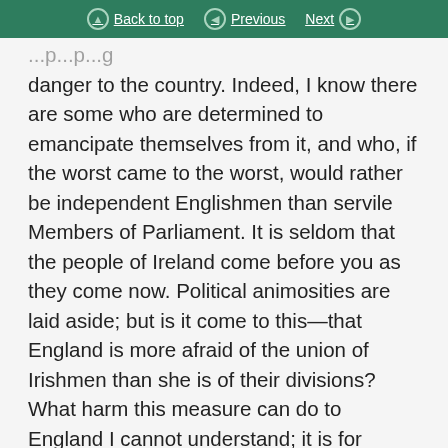Back to top | Previous | Next
danger to the country. Indeed, I know there are some who are determined to emancipate themselves from it, and who, if the worst came to the worst, would rather be independent Englishmen than servile Members of Parliament. It is seldom that the people of Ireland come before you as they come now. Political animosities are laid aside; but is it come to this—that England is more afraid of the union of Irishmen than she is of their divisions? What harm this measure can do to England I cannot understand; it is for English Members to judge. I have still a hope that the decision of the majority will be that no selfish interest, however powerful, shall be allowed to stand any longer in the way of this measure of justice to Ireland and her people.